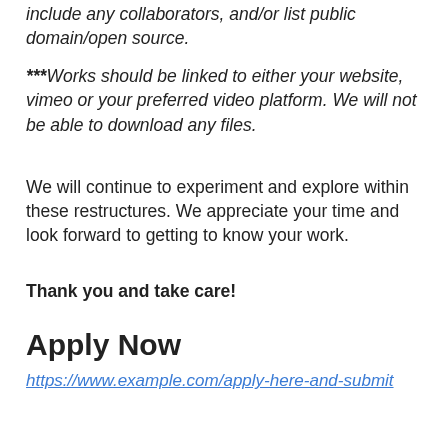include any collaborators, and/or list public domain/open source.
***Works should be linked to either your website, vimeo or your preferred video platform. We will not be able to download any files.
We will continue to experiment and explore within these restructures. We appreciate your time and look forward to getting to know your work.
Thank you and take care!
Apply Now